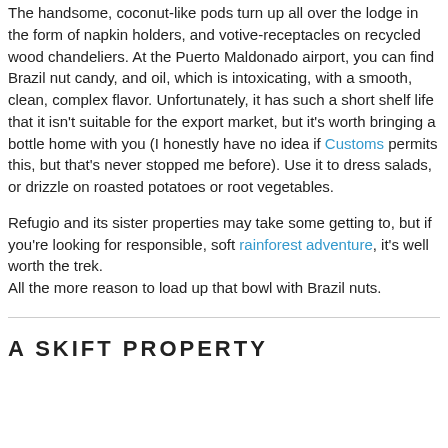The handsome, coconut-like pods turn up all over the lodge in the form of napkin holders, and votive-receptacles on recycled wood chandeliers. At the Puerto Maldonado airport, you can find Brazil nut candy, and oil, which is intoxicating, with a smooth, clean, complex flavor. Unfortunately, it has such a short shelf life that it isn't suitable for the export market, but it's worth bringing a bottle home with you (I honestly have no idea if Customs permits this, but that's never stopped me before). Use it to dress salads, or drizzle on roasted potatoes or root vegetables.
Refugio and its sister properties may take some getting to, but if you're looking for responsible, soft rainforest adventure, it's well worth the trek.
All the more reason to load up that bowl with Brazil nuts.
A SKIFT PROPERTY